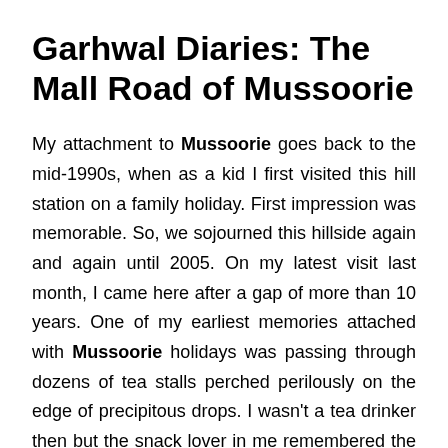Garhwal Diaries: The Mall Road of Mussoorie
My attachment to Mussoorie goes back to the mid-1990s, when as a kid I first visited this hill station on a family holiday. First impression was memorable. So, we sojourned this hillside again and again until 2005. On my latest visit last month, I came here after a gap of more than 10 years. One of my earliest memories attached with Mussoorie holidays was passing through dozens of tea stalls perched perilously on the edge of precipitous drops. I wasn't a tea drinker then but the snack lover in me remembered the way out.
This time, as I opened the car doors, I was hoping to step out into a fresher, more invigorating world. Straddling its